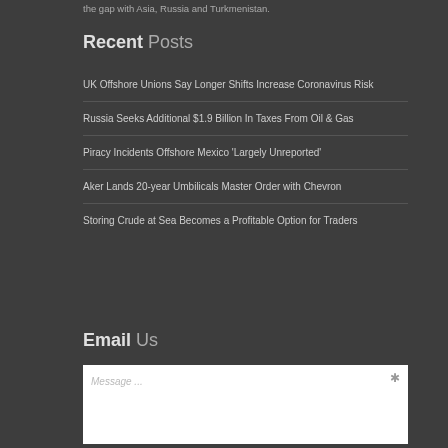the gap with Asia, Russia and Turkmenistan.
Recent Posts
UK Offshore Unions Say Longer Shifts Increase Coronavirus Risk
Russia Seeks Additional $1.9 Billion In Taxes From Oil & Gas
Piracy Incidents Offshore Mexico 'Largely Unreported'
Aker Lands 20-year Umbilicals Master Order with Chevron
Storing Crude at Sea Becomes a Profitable Option for Traders
Email Us
Message ...